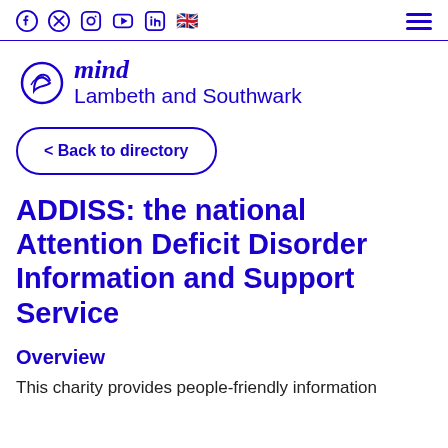Social media icons: Facebook, Twitter, Instagram, YouTube, LinkedIn, UK flag | Hamburger menu
[Figure (logo): Mind Lambeth and Southwark logo with stylised mind symbol and text]
< Back to directory
ADDISS: the national Attention Deficit Disorder Information and Support Service
Overview
This charity provides people-friendly information